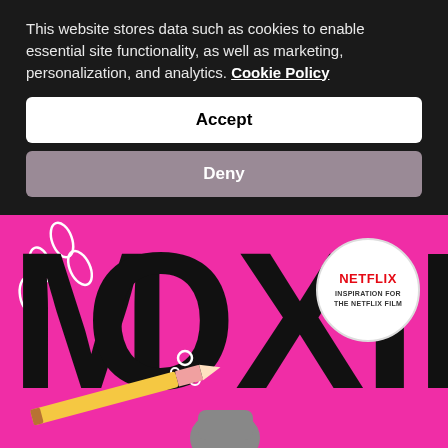This website stores data such as cookies to enable essential site functionality, as well as marketing, personalization, and analytics. Cookie Policy
Accept
Deny
[Figure (illustration): Book cover for 'MOXIE' — large bold black letters spelling MOXIE on a bright pink background, with small decorative doodles (pencils, safety pins, sketches). A white circular badge in the upper right reads 'NETFLIX INSPIRATION FOR THE NETFLIX FILM' in red and black text. A pencil and illustration of a fist are partially visible at the bottom.]